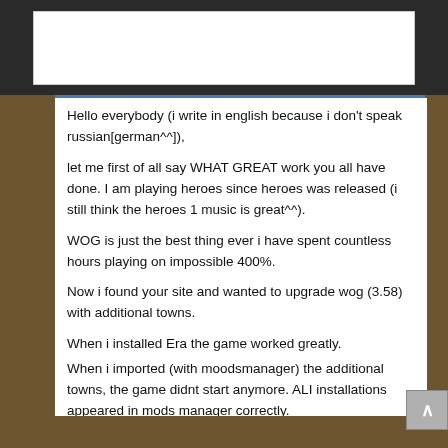[Figure (screenshot): Top navigation/header bar area of a dark-themed website with a white search/input box]
Hello everybody (i write in english because i don't speak russian[german^^]),
let me first of all say WHAT GREAT work you all have done. I am playing heroes since heroes was released (i still think the heroes 1 music is great^^).
WOG is just the best thing ever i have spent countless hours playing on impossible 400%.
Now i found your site and wanted to upgrade wog (3.58) with additional towns.
When i installed Era the game worked greatly.
When i imported (with moodsmanager) the additional towns, the game didnt start anymore. ALI installations appeared in mods manager correctly.
But when trying to start, no error message, just n o t h i n g....
Can you explain me how i could import the new cities?